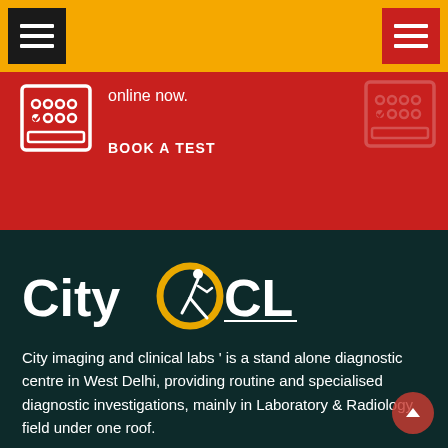[Figure (screenshot): Yellow navigation bar with black hamburger menu icon on left and red hamburger menu icon on right]
[Figure (screenshot): Red banner section with lab test booking icon on left, text 'online now.' and 'BOOK A TEST' link, and faded icon on right]
[Figure (logo): City CCL logo - white text 'City' followed by golden circular CCL emblem with running figure on dark green background]
City imaging and clinical labs ' is a stand alone diagnostic centre in West Delhi, providing routine and specialised diagnostic investigations, mainly in Laboratory & Radiology field under one roof.